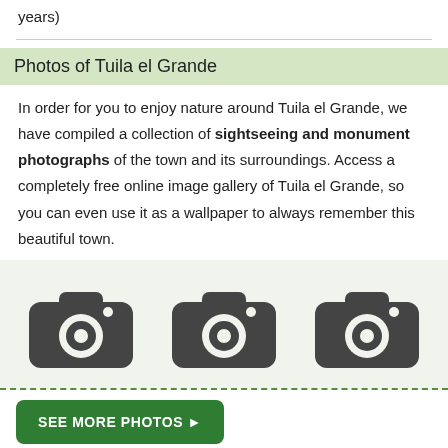years)
Photos of Tuila el Grande
In order for you to enjoy nature around Tuila el Grande, we have compiled a collection of sightseeing and monument photographs of the town and its surroundings. Access a completely free online image gallery of Tuila el Grande, so you can even use it as a wallpaper to always remember this beautiful town.
[Figure (illustration): Three grey camera icons arranged horizontally on a light green background, representing a photo gallery.]
SEE MORE PHOTOS ▶
Enjoy with pictures of Tuila el Grande through this link...